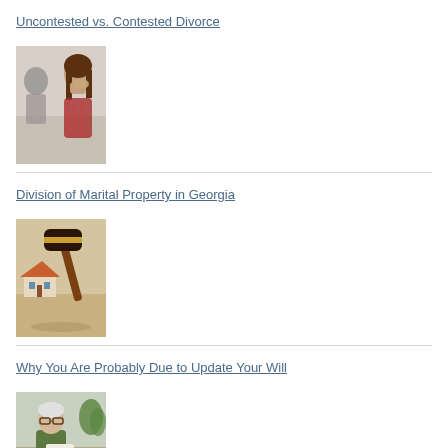Uncontested vs. Contested Divorce
[Figure (photo): A distressed woman with long brown hair resting her head on her hand, with a man in background, suggesting a couple in conflict.]
Division of Marital Property in Georgia
[Figure (photo): A wooden gavel resting on a small model house, symbolizing legal proceedings related to property division.]
Why You Are Probably Due to Update Your Will
[Figure (photo): An elderly man with glasses reading a document at a table with plants in the background.]